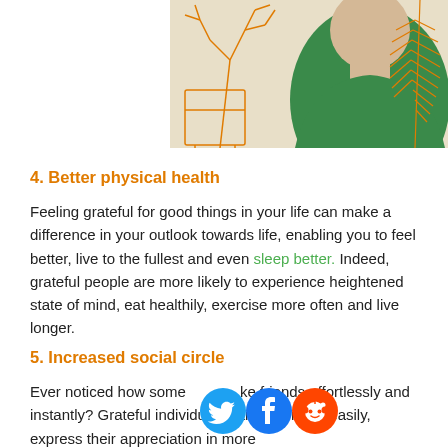[Figure (illustration): Colorful flat-style illustration of a person in a green top among orange plant/floral line drawings on a beige background]
4. Better physical health
Feeling grateful for good things in your life can make a difference in your outlook towards life, enabling you to feel better, live to the fullest and even sleep better. Indeed, grateful people are more likely to experience heightened state of mind, eat healthily, exercise more often and live longer.
5. Increased social circle
Ever noticed how some people make friends effortlessly and instantly? Grateful individuals can trust more easily, express their appreciation in more